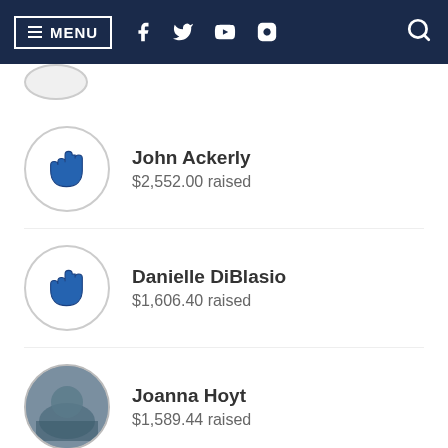MENU (navigation bar with social icons and search)
John Ackerly
$2,552.00 raised
Danielle DiBlasio
$1,606.40 raised
Joanna Hoyt
$1,589.44 raised
View Full Leaderboard
Top Fundraiser Awards
FUNDRAISING AWARDS